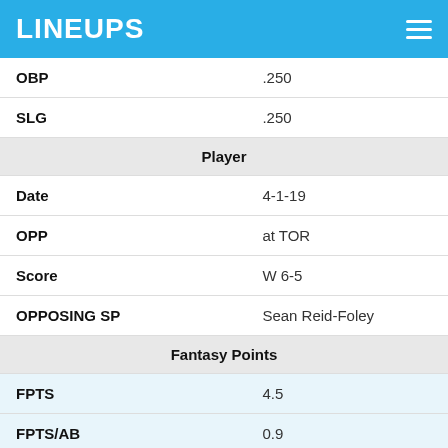LINEUPS
| OBP | .250 |
| SLG | .250 |
| Player |  |
| Date | 4-1-19 |
| OPP | at TOR |
| Score | W 6-5 |
| OPPOSING SP | Sean Reid-Foley |
| Fantasy Points |  |
| FPTS | 4.5 |
| FPTS/AB | 0.9 |
| Offense |  |
| PA | 5 |
| H | 1 |